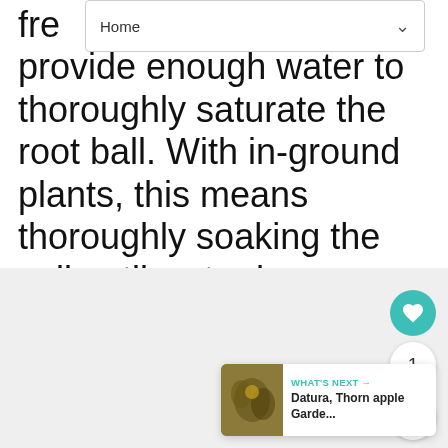Home
fre provide enough water to thoroughly saturate the root ball. With in-ground plants, this means thoroughly soaking the soil until water has penetrated to a depth of 6 to 7 inches (1' being better). With container grown plants, apply enough water to allow water to flow through the drainage holes.
[Figure (photo): Gray placeholder image area below the text content]
[Figure (other): What's Next card showing Datura, Thorn apple Garde... with a thumbnail image]